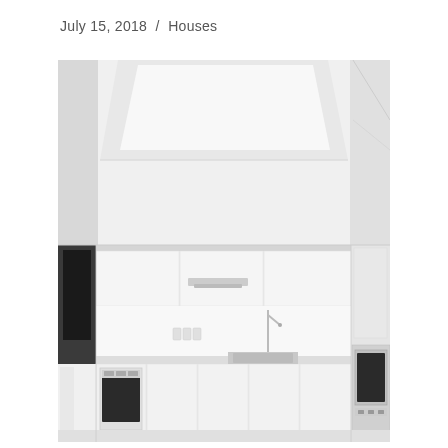July 15, 2018  /  Houses
[Figure (photo): Interior photograph of a minimalist all-white kitchen with seamless white cabinetry, white ceiling with a recessed skylight panel, built-in oven on the right, range hood above center cooktop, stainless steel sink, and dark glass panel on the left wall.]